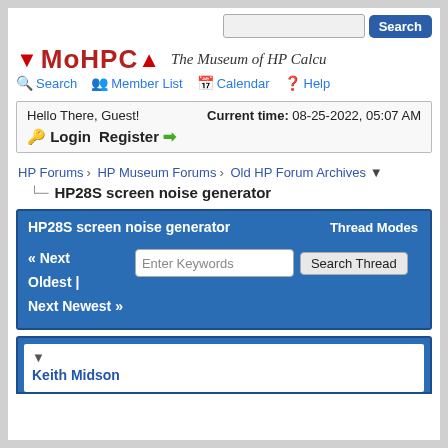Search [search button]
MoHPCA - The Museum of HP Calcu...
Search | Member List | Calendar | Help
Hello There, Guest!   Current time: 08-25-2022, 05:07 AM
Login  Register
HP Forums › HP Museum Forums › Old HP Forum Archives ▼
HP28S screen noise generator
HP28S screen noise generator   Thread Modes
« Next Oldest | Next Newest »   Enter Keywords   Search Thread
Keith Midson